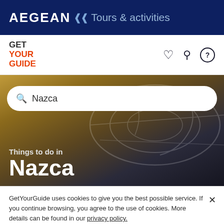AEGEAN » Tours & activities
[Figure (logo): GetYourGuide logo with GET YOUR GUIDE text in dark and orange/red colors]
[Figure (screenshot): Hero search area with golden-brown desert background showing Nazca lines outline, search bar with 'Nazca' query, and 'Things to do in Nazca' heading overlay]
GetYourGuide uses cookies to give you the best possible service. If you continue browsing, you agree to the use of cookies. More details can be found in our privacy policy.